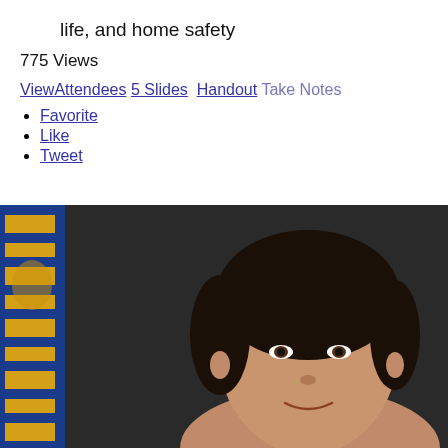life, and home safety
775 Views
ViewAttendees 5 Slides   Handout   Take Notes
Favorite
Like
Tweet
[Figure (photo): Headshot photo of a woman with dark hair against a dark background, with a colorful blue and gold flag/banner visible on the left side.]